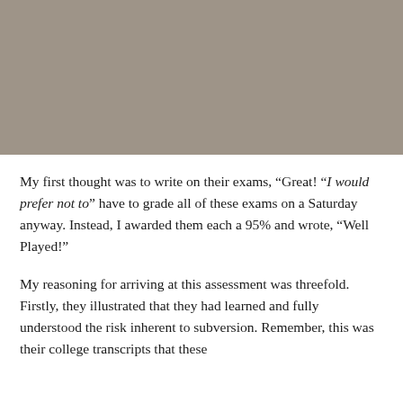[Figure (photo): A photograph showing a tan/brownish-gray textured surface, likely a book cover or cardstock.]
My first thought was to write on their exams, "Great! "I would prefer not to" have to grade all of these exams on a Saturday anyway. Instead, I awarded them each a 95% and wrote, "Well Played!"
My reasoning for arriving at this assessment was threefold. Firstly, they illustrated that they had learned and fully understood the risk inherent to subversion. Remember, this was their college transcripts that these